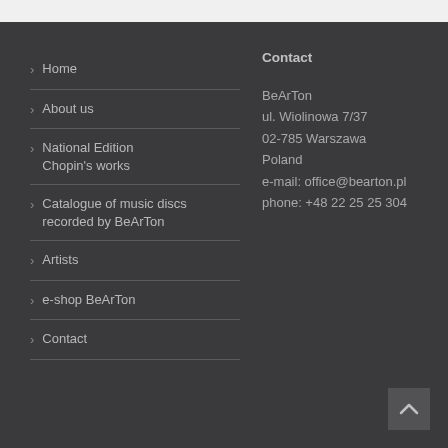> Home
> About us
> National Edition Chopin's works
> Catalogue of music discs recorded by BeArTon
> Artists
> e-shop BeArTon
> Contact
Contact
BeArTon
ul. Wiolinowa 7/37
02-785 Warszawa
Poland
e-mail: office@bearton.pl
phone: +48 22 25 25 304